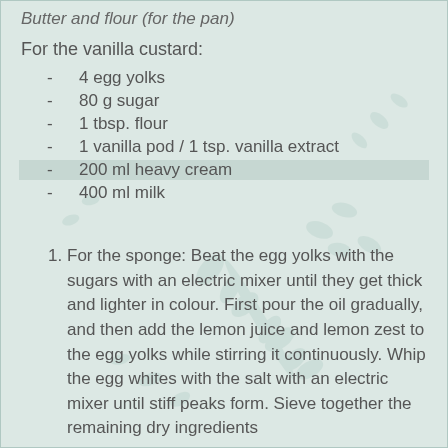Butter and flour (for the pan)
For the vanilla custard:
4 egg yolks
80 g sugar
1 tbsp. flour
1 vanilla pod / 1 tsp. vanilla extract
200 ml heavy cream
400 ml milk
For the sponge: Beat the egg yolks with the sugars with an electric mixer until they get thick and lighter in colour. First pour the oil gradually, and then add the lemon juice and lemon zest to the egg yolks while stirring it continuously. Whip the egg whites with the salt with an electric mixer until stiff peaks form. Sieve together the remaining dry ingredients